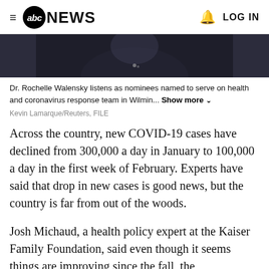≡ abcNEWS  🔔 LOG IN
[Figure (photo): Partial photo of Dr. Rochelle Walensky at a press event, wearing dark clothing, cropped to show neck/lower face area against a dark background.]
Dr. Rochelle Walensky listens as nominees named to serve on health and coronavirus response team in Wilmin... Show more
Kevin Lamarque/Reuters, FILE
Across the country, new COVID-19 cases have declined from 300,000 a day in January to 100,000 a day in the first week of February. Experts have said that drop in new cases is good news, but the country is far from out of the woods.
Josh Michaud, a health policy expert at the Kaiser Family Foundation, said even though it seems things are improving since the fall, the